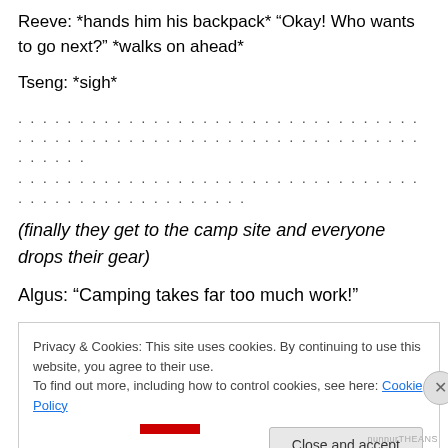Reeve: *hands him his backpack* “Okay! Who wants to go next?” *walks on ahead*
Tseng: *sigh*
...............................................................................
........................................................
(finally they get to the camp site and everyone drops their gear)
Algus: “Camping takes far too much work!”
[Figure (screenshot): Cookie consent banner with text: Privacy & Cookies: This site uses cookies. By continuing to use this website, you agree to their use. To find out more, including how to control cookies, see here: Cookie Policy. Includes a close button (X) and a 'Close and accept' button.]